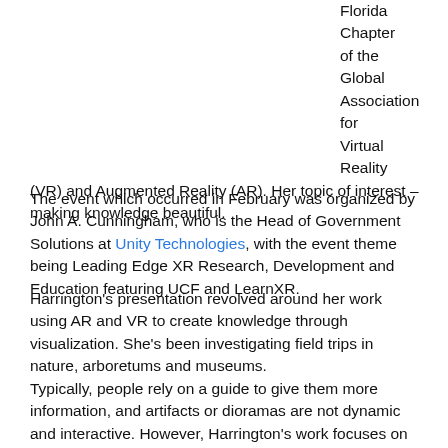Florida Chapter of the Global Association for Virtual Reality (VR) and Augmented Reality (AR). Her topic of interest – making knowledge beautiful.
The event which occurred in February was organized by John A. Cunningham, who is the Head of Government Solutions at Unity Technologies, with the event theme being Leading Edge XR Research, Development and Education featuring UCF and LearnXR.
Harrington's presentation revolved around her work using AR and VR to create knowledge through visualization. She's been investigating field trips in nature, arboretums and museums.
Typically, people rely on a guide to give them more information, and artifacts or dioramas are not dynamic and interactive. However, Harrington's work focuses on how to design AR and VR to enhance immersive informational experiences.